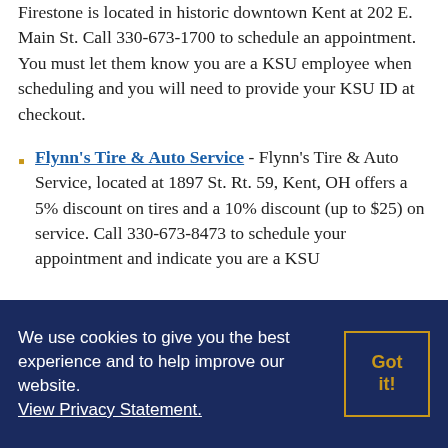Firestone is located in historic downtown Kent at 202 E. Main St. Call 330-673-1700 to schedule an appointment. You must let them know you are a KSU employee when scheduling and you will need to provide your KSU ID at checkout.
Flynn's Tire & Auto Service - Flynn's Tire & Auto Service, located at 1897 St. Rt. 59, Kent, OH offers a 5% discount on tires and a 10% discount (up to $25) on service. Call 330-673-8473 to schedule your appointment and indicate you are a KSU
We use cookies to give you the best experience and to help improve our website. View Privacy Statement.